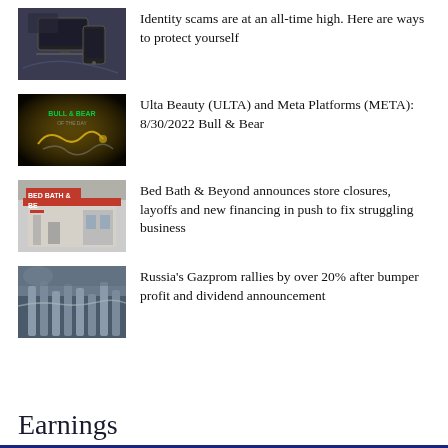[Figure (photo): Person using laptop and phone, dark background]
Identity scams are at an all-time high. Here are ways to protect yourself
[Figure (photo): Bull & Bear of the Day graphic with gold/dark background]
Ulta Beauty (ULTA) and Meta Platforms (META): 8/30/2022 Bull & Bear
[Figure (photo): Bed Bath & Beyond storefront with red signage]
Bed Bath & Beyond announces store closures, layoffs and new financing in push to fix struggling business
[Figure (photo): Industrial facility, pipes and infrastructure, Gazprom]
Russia's Gazprom rallies by over 20% after bumper profit and dividend announcement
Earnings